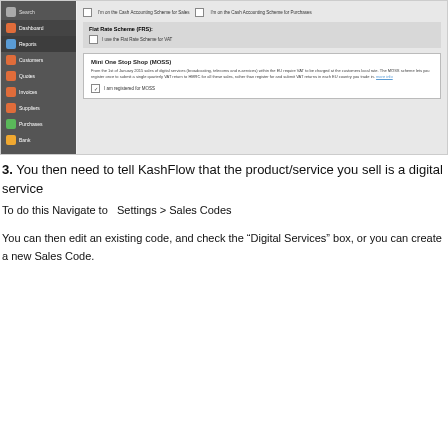[Figure (screenshot): KashFlow accounting software screenshot showing VAT settings with Cash Accounting Scheme checkboxes, Flat Rate Scheme (FRS) section with 'I use the Flat Rate Scheme for VAT' checkbox, and Mini One Stop Shop (MOSS) section with description text and 'I am registered for MOSS' checkbox checked.]
3. You then need to tell KashFlow that the product/service you sell is a digital service
To do this Navigate to  Settings > Sales Codes
You can then edit an existing code, and check the “Digital Services” box, or you can create a new Sales Code.
[Figure (screenshot): KashFlow Digital Services sales code settings page showing Code: 4906, Name: Digital Services, SA103 Exclude dropdown, invoice lines checkbox, archive checkbox, and Digital Service checkbox checked with description about EU VAT at local rate.]